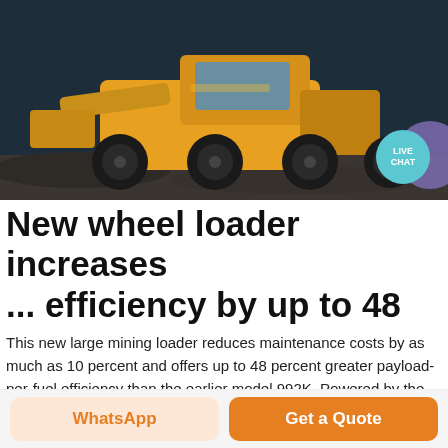[Figure (photo): Yellow wheel loader / mining equipment photographed from behind/side angle, dark background with rock/ground surface. Live Chat bubble overlay in top right corner.]
New wheel loader increases ... efficiency by up to 48
This new large mining loader reduces maintenance costs by as much as 10 percent and offers up to 48 percent greater payload-per-fuel efficiency than the earlier model 992K. Powered by the new C32B engine with U.S. EPA Tier 4 Final/EU Stage V and Tier 2 equivalent emission engine options, the new 992 meets the demand for high-production equipment with greater payloads
« Send message